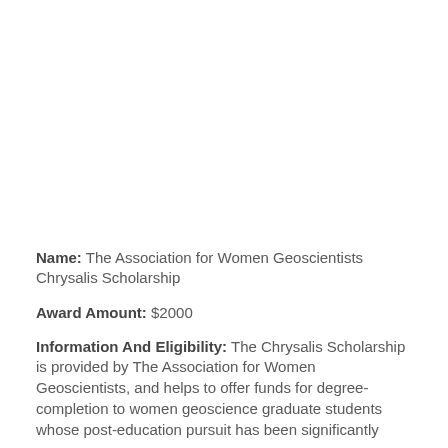Name: The Association for Women Geoscientists Chrysalis Scholarship
Award Amount: $2000
Information And Eligibility: The Chrysalis Scholarship is provided by The Association for Women Geoscientists, and helps to offer funds for degree-completion to women geoscience graduate students whose post-education pursuit has been significantly